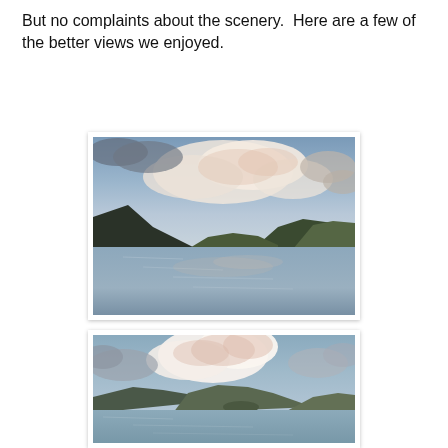But no complaints about the scenery.  Here are a few of the better views we enjoyed.
[Figure (photo): Scenic landscape photograph showing a calm inlet or fjord with mountains on both sides, forested hills, and dramatic clouds in a blue-grey sky with warm pink-orange tones near the horizon. Water reflects the sky and clouds.]
[Figure (photo): Second scenic landscape photograph of a similar inlet or fjord scene, with billowing white and pink clouds dominating the upper portion of the frame, mountains and forested shoreline visible in the lower half, calm water in the foreground.]